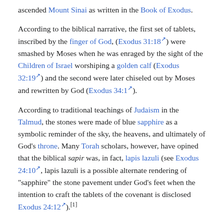ascended Mount Sinai as written in the Book of Exodus.
According to the biblical narrative, the first set of tablets, inscribed by the finger of God, (Exodus 31:18) were smashed by Moses when he was enraged by the sight of the Children of Israel worshiping a golden calf (Exodus 32:19) and the second were later chiseled out by Moses and rewritten by God (Exodus 34:1).
According to traditional teachings of Judaism in the Talmud, the stones were made of blue sapphire as a symbolic reminder of the sky, the heavens, and ultimately of God's throne. Many Torah scholars, however, have opined that the biblical sapir was, in fact, lapis lazuli (see Exodus 24:10, lapis lazuli is a possible alternate rendering of "sapphire" the stone pavement under God's feet when the intention to craft the tablets of the covenant is disclosed Exodus 24:12).[1]